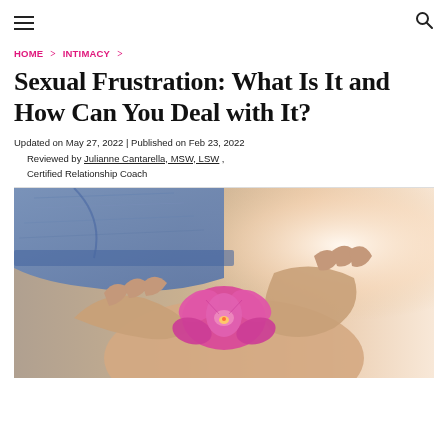Navigation bar with hamburger menu and search icon
HOME > INTIMACY >
Sexual Frustration: What Is It and How Can You Deal with It?
Updated on May 27, 2022 | Published on Feb 23, 2022
Reviewed by Julianne Cantarella, MSW, LSW , Certified Relationship Coach
[Figure (photo): Close-up photo of hands holding a pink orchid flower near denim jeans and a bare stomach, with a bright light in the background.]